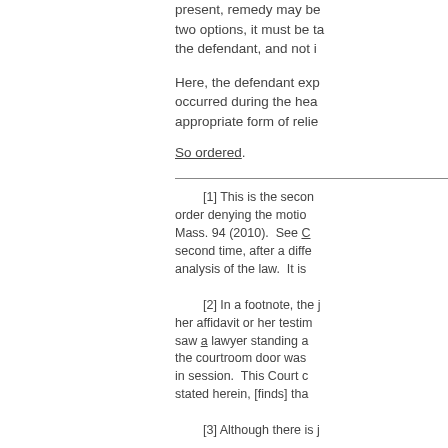present, remedy may be two options, it must be taken the defendant, and not i…
Here, the defendant exp… occurred during the hea… appropriate form of relie…
So ordered.
[1] This is the second order denying the motio… Mass. 94 (2010). See C… second time, after a diffe… analysis of the law. It is…
[2] In a footnote, the j… her affidavit or her testim… saw a lawyer standing a… the courtroom door was… in session. This Court c… stated herein, [finds] tha…
[3] Although there is j…